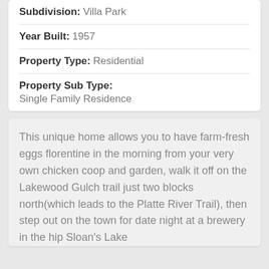Subdivision: Villa Park
Year Built: 1957
Property Type: Residential
Property Sub Type: Single Family Residence
This unique home allows you to have farm-fresh eggs florentine in the morning from your very own chicken coop and garden, walk it off on the Lakewood Gulch trail just two blocks north(which leads to the Platte River Trail), then step out on the town for date night at a brewery in the hip Sloan's Lake neighborhood...